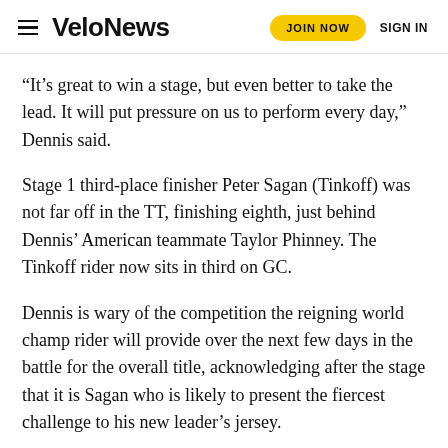VeloNews  JOIN NOW  SIGN IN
“It’s great to win a stage, but even better to take the lead. It will put pressure on us to perform every day,” Dennis said.
Stage 1 third-place finisher Peter Sagan (Tinkoff) was not far off in the TT, finishing eighth, just behind Dennis’ American teammate Taylor Phinney. The Tinkoff rider now sits in third on GC.
Dennis is wary of the competition the reigning world champ rider will provide over the next few days in the battle for the overall title, acknowledging after the stage that it is Sagan who is likely to present the fiercest challenge to his new leader’s jersey.
“Today, I was mainly worried about him, once Tom Dumoulin